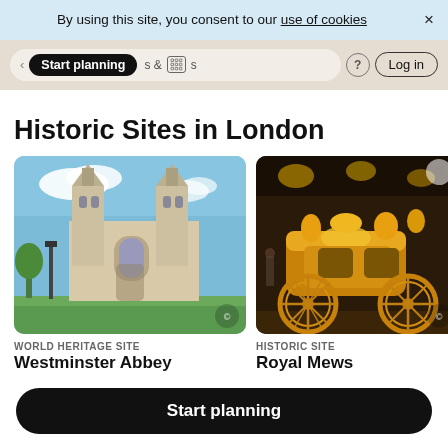By using this site, you consent to our use of cookies
[Figure (screenshot): Website navigation bar with 'Start planning' active pill, favorites & activities icons, question mark, and Log in button]
Historic Sites in London
[Figure (photo): Photo of Westminster Abbey exterior against blue sky with clouds]
WORLD HERITAGE SITE
Westminster Abbey
[Figure (photo): Photo of a golden royal carriage (Gold State Coach) in an indoor museum setting]
HISTORIC SITE
Royal Mews
Start planning